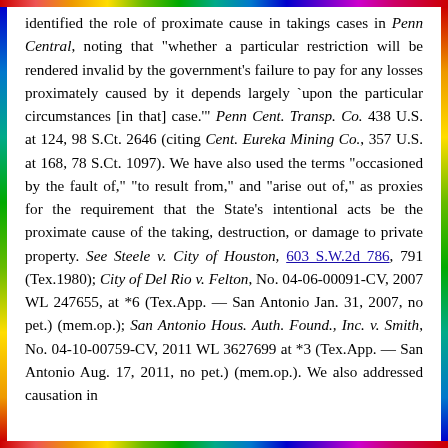identified the role of proximate cause in takings cases in Penn Central, noting that "whether a particular restriction will be rendered invalid by the government's failure to pay for any losses proximately caused by it depends largely `upon the particular circumstances [in that] case.'" Penn Cent. Transp. Co. 438 U.S. at 124, 98 S.Ct. 2646 (citing Cent. Eureka Mining Co., 357 U.S. at 168, 78 S.Ct. 1097). We have also used the terms "occasioned by the fault of," "to result from," and "arise out of," as proxies for the requirement that the State's intentional acts be the proximate cause of the taking, destruction, or damage to private property. See Steele v. City of Houston, 603 S.W.2d 786, 791 (Tex.1980); City of Del Rio v. Felton, No. 04-06-00091-CV, 2007 WL 247655, at *6 (Tex.App. — San Antonio Jan. 31, 2007, no pet.) (mem.op.); San Antonio Hous. Auth. Found., Inc. v. Smith, No. 04-10-00759-CV, 2011 WL 3627699 at *3 (Tex.App. — San Antonio Aug. 17, 2011, no pet.) (mem.op.). We also addressed causation in